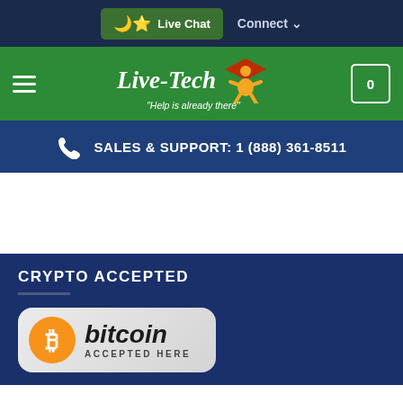Live Chat   Connect
[Figure (logo): Live-Tech logo with tagline 'Help is already there' and a jumping figure icon, plus hamburger menu and cart icon with 0]
SALES & SUPPORT: 1 (888) 361-8511
CRYPTO ACCEPTED
[Figure (logo): Bitcoin Accepted Here badge with orange Bitcoin logo]